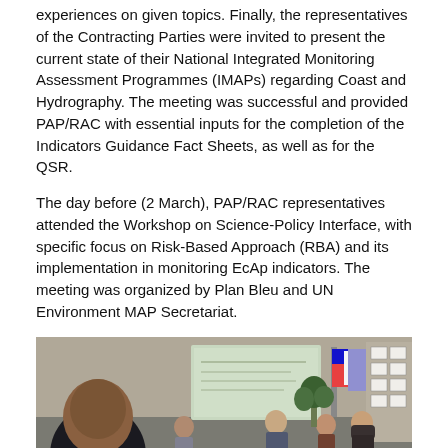experiences on given topics. Finally, the representatives of the Contracting Parties were invited to present the current state of their National Integrated Monitoring Assessment Programmes (IMAPs) regarding Coast and Hydrography. The meeting was successful and provided PAP/RAC with essential inputs for the completion of the Indicators Guidance Fact Sheets, as well as for the QSR.
The day before (2 March), PAP/RAC representatives attended the Workshop on Science-Policy Interface, with specific focus on Risk-Based Approach (RBA) and its implementation in monitoring EcAp indicators. The meeting was organized by Plan Bleu and UN Environment MAP Secretariat.
[Figure (photo): A meeting room scene showing several participants seated around a conference table. In the foreground, a man in a dark jacket is writing with a pen. A laptop is open in the lower right. In the background, a woman is presenting near a projection screen. Flags are visible. Other participants are seated around the table. Papers are posted on the wall to the right.]